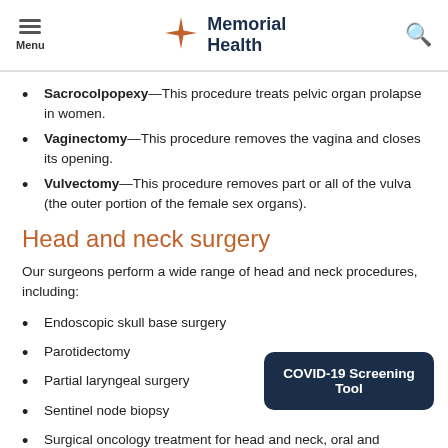Menu | Memorial Health | Search
Sacrocolpopexy—This procedure treats pelvic organ prolapse in women.
Vaginectomy—This procedure removes the vagina and closes its opening.
Vulvectomy—This procedure removes part or all of the vulva (the outer portion of the female sex organs).
Head and neck surgery
Our surgeons perform a wide range of head and neck procedures, including:
Endoscopic skull base surgery
Parotidectomy
Partial laryngeal surgery
Sentinel node biopsy
Surgical oncology treatment for head and neck, oral and…